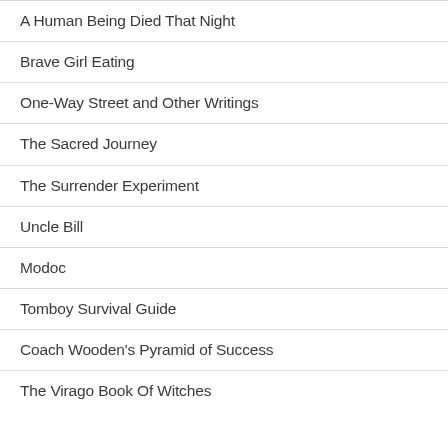A Human Being Died That Night
Brave Girl Eating
One-Way Street and Other Writings
The Sacred Journey
The Surrender Experiment
Uncle Bill
Modoc
Tomboy Survival Guide
Coach Wooden's Pyramid of Success
The Virago Book Of Witches